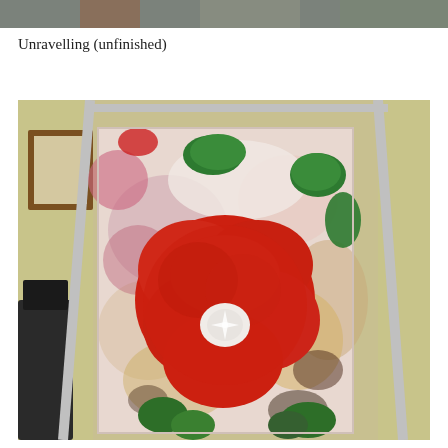[Figure (photo): Partial cropped photo strip at top of page, showing edge of an image]
Unravelling (unfinished)
[Figure (photo): A painting on canvas displayed on an easel. The painting features a large red flower (hibiscus-like) in the center with a white center, set against a mixed background of pinks, whites, yellows, and browns. Green leaves are painted at the top and bottom edges. The canvas sits on a silver metal easel. In the background, a dark chair is visible on the left and a framed mirror on the wall.]